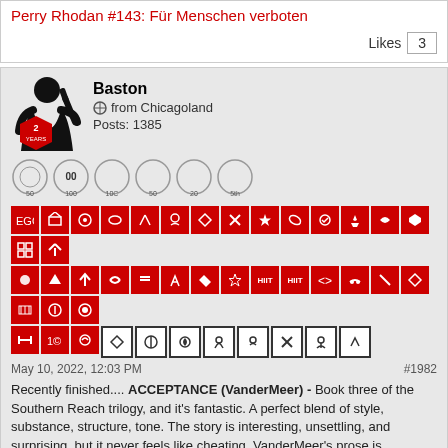Perry Rhodan #143: Für Menschen verboten
Likes  3
Baston
♂ from Chicagoland
Posts: 1385
[Figure (other): User avatar silhouette and achievement badges/icons grid]
May 10, 2022, 12:03 PM    #1982
Recently finished.... ACCEPTANCE (VanderMeer) - Book three of the Southern Reach trilogy, and it's fantastic. A perfect blend of style, substance, structure, tone. The story is interesting, unsettling, and surprising, but it never feels like cheating. VanderMeer's prose is haunting, concise, and beautiful; he weaves profundity into events which are sometimes mundane, sometimes spectacular. Can't recommend this enough. It's hard for a sequel to top the original (and I thought ANNIHILATION was